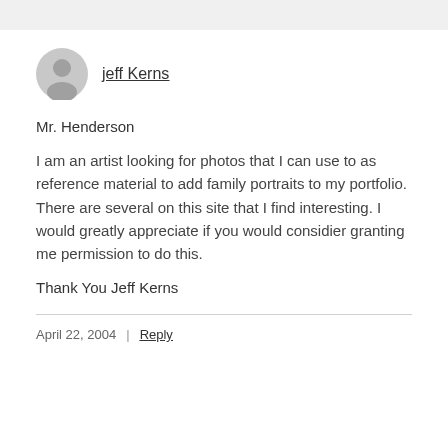jeff Kerns
Mr. Henderson
I am an artist looking for photos that I can use to as reference material to add family portraits to my portfolio. There are several on this site that I find interesting. I would greatly appreciate if you would considier granting me permission to do this.
Thank You Jeff Kerns
April 22, 2004
Reply